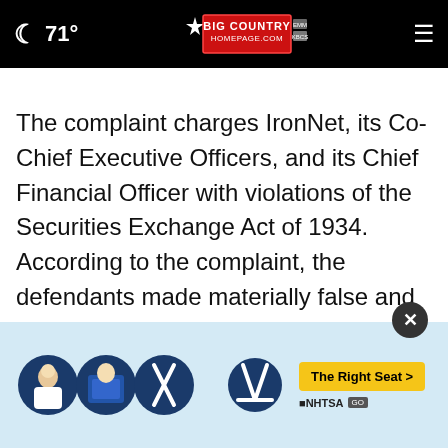71° | Big Country Homepage | ≡
The complaint charges IronNet, its Co-Chief Executive Officers, and its Chief Financial Officer with violations of the Securities Exchange Act of 1934. According to the complaint, the defendants made materially false and misleading statements and failed to disclose known adverse facts about IronNet's business, operations, and prospects, including that: (i) the Company had materially overstated its business and financial prospects; (ii) the Company was unab
[Figure (infographic): NHTSA car seat safety advertisement banner with seat icons and 'The Right Seat >' button]